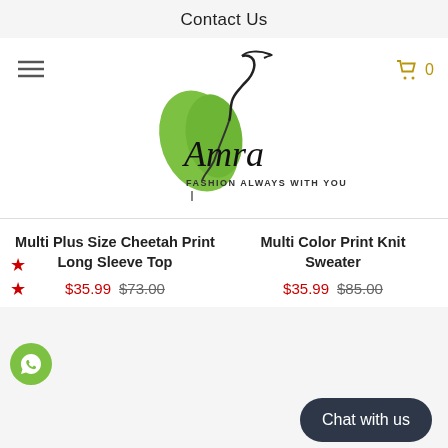Contact Us
[Figure (logo): Amra Fashion Always With You logo — stylized woman silhouette with green leaf and cursive Amra text]
Multi Plus Size Cheetah Print Long Sleeve Top $35.99 $73.00
Multi Color Print Knit Sweater $35.99 $85.00
Chat with us